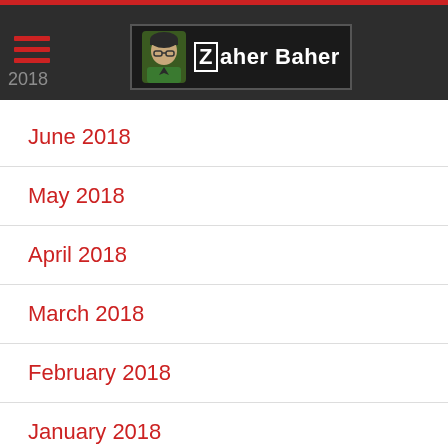Zaher Baher — navigation header with hamburger menu and logo
June 2018
May 2018
April 2018
March 2018
February 2018
January 2018
December 2017
November 2017
October 2017